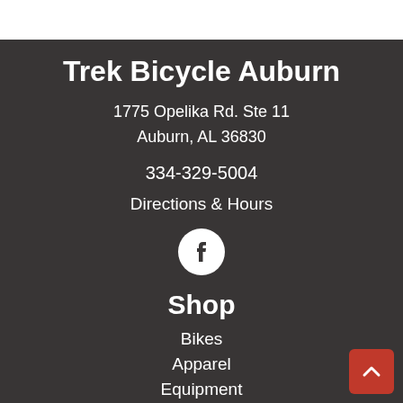Trek Bicycle Auburn
1775 Opelika Rd. Ste 11
Auburn, AL 36830
334-329-5004
Directions & Hours
[Figure (logo): Facebook logo icon — white circle with Facebook 'f' mark]
Shop
Bikes
Apparel
Equipment
Components